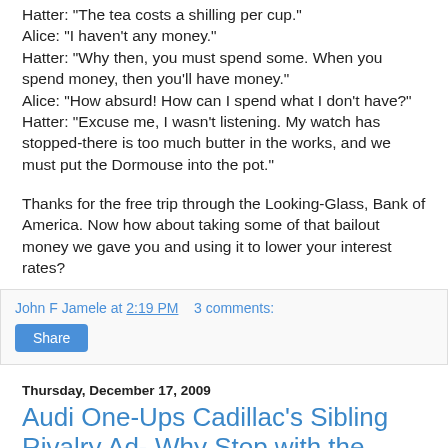Hatter: "The tea costs a shilling per cup." Alice: "I haven't any money." Hatter: "Why then, you must spend some. When you spend money, then you'll have money." Alice: "How absurd! How can I spend what I don't have?" Hatter: "Excuse me, I wasn't listening. My watch has stopped-there is too much butter in the works, and we must put the Dormouse into the pot."
Thanks for the free trip through the Looking-Glass, Bank of America. Now how about taking some of that bailout money we gave you and using it to lower your interest rates?
John F Jamele at 2:19 PM   3 comments:
Share
Thursday, December 17, 2009
Audi One-Ups Cadillac's Sibling Rivalry Ad- Why Stop with the Immediate Family?